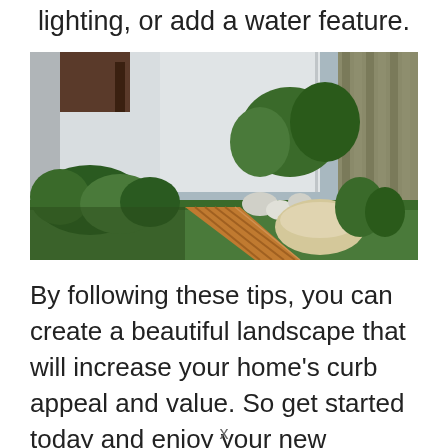lighting, or add a water feature.
[Figure (photo): A modern outdoor courtyard or garden area with a wooden plank walkway, green plants and shrubs, white walls, decorative rocks, green turf lawn, and a beige cushioned seat. The space is flanked by a wooden fence on the right.]
By following these tips, you can create a beautiful landscape that will increase your home’s curb appeal and value. So get started today and enjoy your new
x